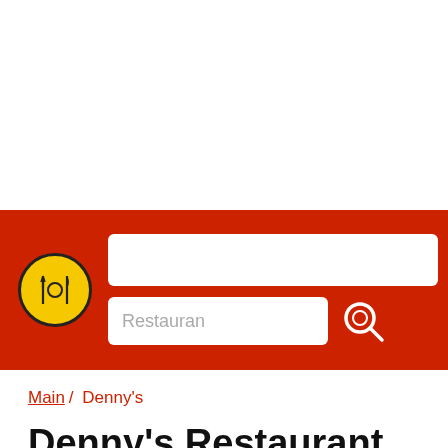[Figure (logo): Website header with red background, yellow circular logo with fork/knife/spoon icons, a white search input box, and a 'Restauran' placeholder search field with a search icon]
Main / Denny's
Denny's Restaurant Prices and Locations